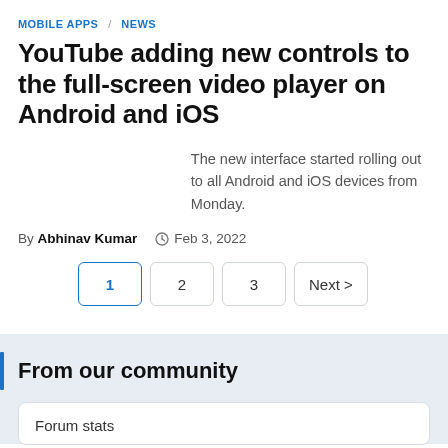MOBILE APPS / NEWS
YouTube adding new controls to the full-screen video player on Android and iOS
The new interface started rolling out to all Android and iOS devices from Monday.
By Abhinav Kumar  Feb 3, 2022
1  2  3  Next >
From our community
Forum stats